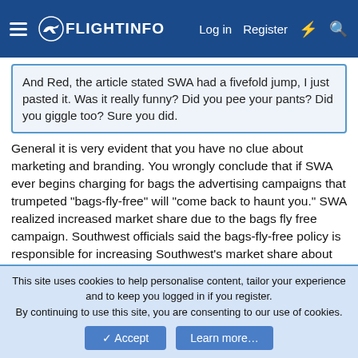FlightInfo — Log in | Register
And Red, the article stated SWA had a fivefold jump, I just pasted it. Was it really funny? Did you pee your pants? Did you giggle too? Sure you did.
General it is very evident that you have no clue about marketing and branding. You wrongly conclude that if SWA ever begins charging for bags the advertising campaigns that trumpeted "bags-fly-free" will "come back to haunt you." SWA realized increased market share due to the bags fly free campaign. Southwest officials said the bags-fly-free policy is responsible for increasing Southwest's market share about 2% since 2008 and generates up to $1 billion annually.
If and when they change the bags-fly-free policy they will most likely hold on to most of the customers that flocked to the
This site uses cookies to help personalise content, tailor your experience and to keep you logged in if you register.
By continuing to use this site, you are consenting to our use of cookies.